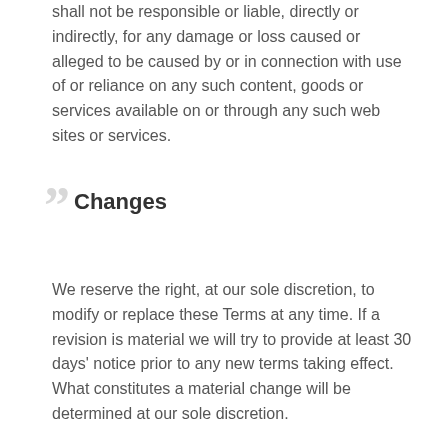shall not be responsible or liable, directly or indirectly, for any damage or loss caused or alleged to be caused by or in connection with use of or reliance on any such content, goods or services available on or through any such web sites or services.
Changes
We reserve the right, at our sole discretion, to modify or replace these Terms at any time. If a revision is material we will try to provide at least 30 days' notice prior to any new terms taking effect. What constitutes a material change will be determined at our sole discretion.